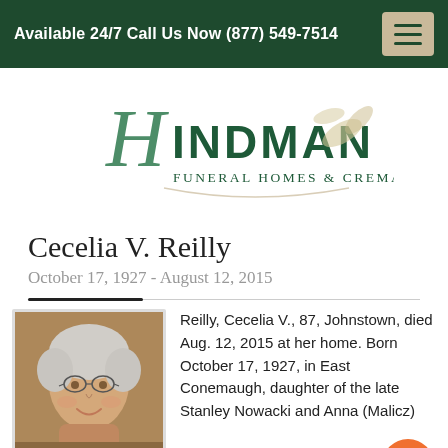Available 24/7 Call Us Now (877) 549-7514
[Figure (logo): Hindman Funeral Homes & Crematory, Inc. logo with decorative script H and leaf motif]
Cecelia V. Reilly
October 17, 1927 - August 12, 2015
[Figure (photo): Portrait photo of an elderly woman with short white hair and glasses, smiling]
Reilly, Cecelia V., 87, Johnstown, died Aug. 12, 2015 at her home. Born October 17, 1927, in East Conemaugh, daughter of the late Stanley Nowacki and Anna (Malicz)